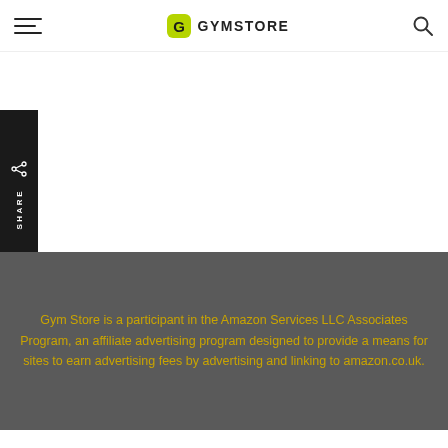GYMSTORE — navigation header with hamburger menu and search icon
[Figure (logo): GymStore logo: green shield/G icon followed by GYMSTORE text in bold sans-serif]
SHARE
Gym Store is a participant in the Amazon Services LLC Associates Program, an affiliate advertising program designed to provide a means for sites to earn advertising fees by advertising and linking to amazon.co.uk.